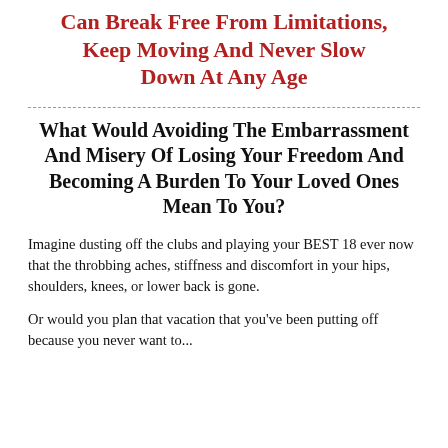Can Break Free From Limitations, Keep Moving And Never Slow Down At Any Age
What Would Avoiding The Embarrassment And Misery Of Losing Your Freedom And Becoming A Burden To Your Loved Ones Mean To You?
Imagine dusting off the clubs and playing your BEST 18 ever now that the throbbing aches, stiffness and discomfort in your hips, shoulders, knees, or lower back is gone.
Or would you plan that vacation that you've been putting off because you never want to...